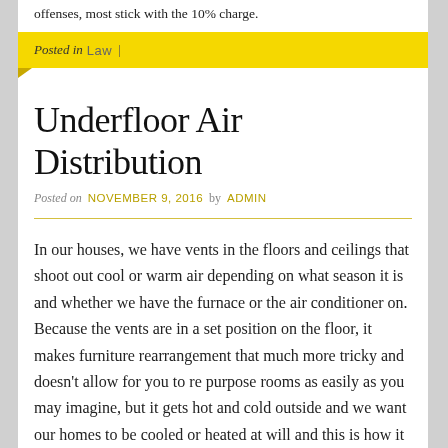offenses, most stick with the 10% charge.
Posted in Law |
Underfloor Air Distribution
Posted on NOVEMBER 9, 2016 by ADMIN
In our houses, we have vents in the floors and ceilings that shoot out cool or warm air depending on what season it is and whether we have the furnace or the air conditioner on. Because the vents are in a set position on the floor, it makes furniture rearrangement that much more tricky and doesn't allow for you to re purpose rooms as easily as you may imagine, but it gets hot and cold outside and we want our homes to be cooled or heated at will and this is how it is done.
More and more buildings on a bigger scale however